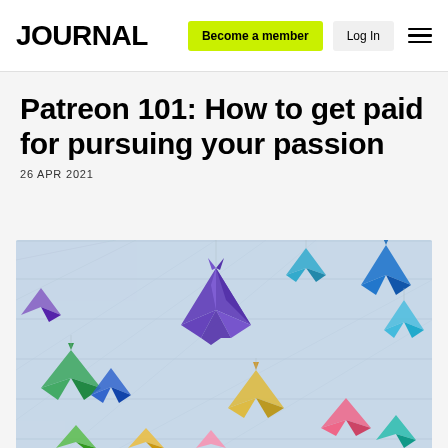JOURNAL | Become a member | Log In
Patreon 101: How to get paid for pursuing your passion
26 APR 2021
[Figure (photo): Colorful origami paper cranes hanging or scattered on a light blue/white wooden surface background. Multiple cranes in purple, green, blue, yellow, pink, and teal colors.]